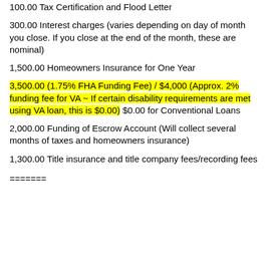100.00  Tax Certification and Flood Letter
300.00  Interest charges (varies depending on day of month you close.  If you close at the end of the month, these are nominal)
1,500.00 Homeowners Insurance for One Year
3,500.00 (1.75% FHA Funding Fee) / $4,000 (Approx. 2% funding fee for VA ~ If certain disability requirements are met using VA loan, this is $0.00) $0.00 for Conventional Loans
2,000.00 Funding of Escrow Account (Will collect several months of taxes and homeowners insurance)
1,300.00 Title insurance and title company fees/recording fees
=======